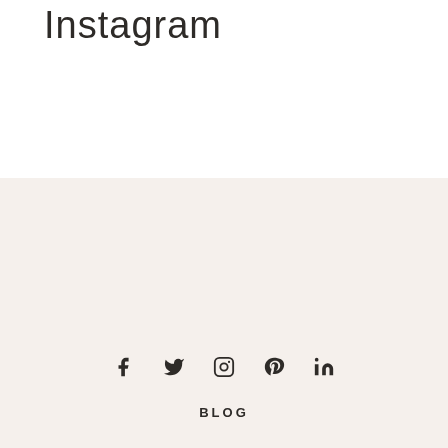Instagram
[Figure (infographic): Row of five social media icons: Facebook (f), Twitter (bird), Instagram (camera), Pinterest (P), LinkedIn (in)]
BLOG